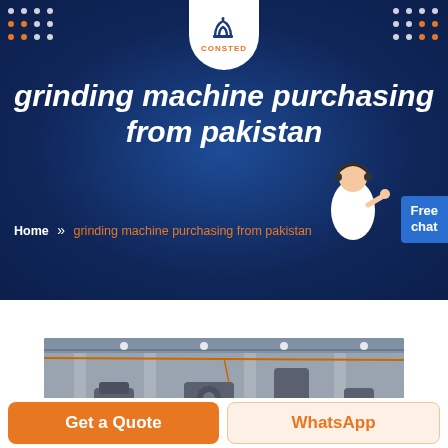[Figure (screenshot): Website hero banner with dark blue background showing a CONSTED logo at the top center, decorative dot patterns in top corners, and a grinding machine factory background image]
grinding machine purchasing from pakistan
Home » grinding machine purchasing from pakistan
[Figure (photo): Interior of a factory with industrial machinery, columns, overhead lighting and equipment on the floor]
Get a Quote
WhatsApp